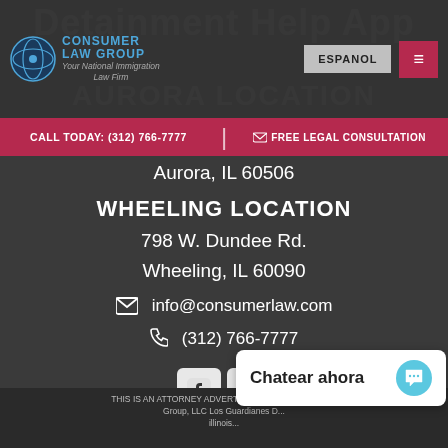Consumer Law Group — Your National Immigration Law Firm
ESPANOL | Menu
CALL TODAY: (312) 766-7777 | FREE LEGAL CONSULTATION
Aurora, IL 60506
WHEELING LOCATION
798 W. Dundee Rd.
Wheeling, IL 60090
info@consumerlaw.com
(312) 766-7777
[Figure (logo): Facebook and Twitter social media icons]
THIS IS AN ATTORNEY ADVERTISEMENT. Consumer Law Group, LLC Los Guardianes D... illinois...
Chatear ahora